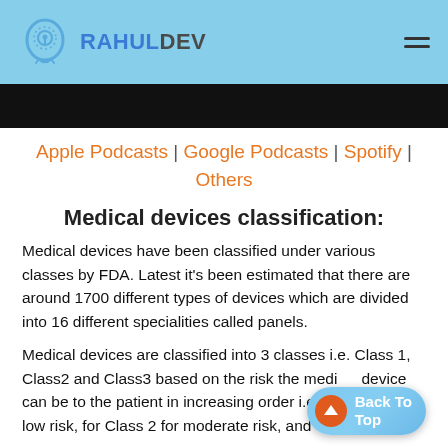RAHULDEV
[Figure (photo): Dark hero image banner at top of content area]
Apple Podcasts | Google Podcasts | Spotify | Others
Medical devices classification:
Medical devices have been classified under various classes by FDA. Latest it’s been estimated that there are around 1700 different types of devices which are divided into 16 different specialities called panels.
Medical devices are classified into 3 classes i.e. Class 1, Class2 and Class3 based on the risk the medical device can be to the patient in increasing order i.e.  Class 1 for low risk, for Class 2 for moderate risk, and Class 3 for